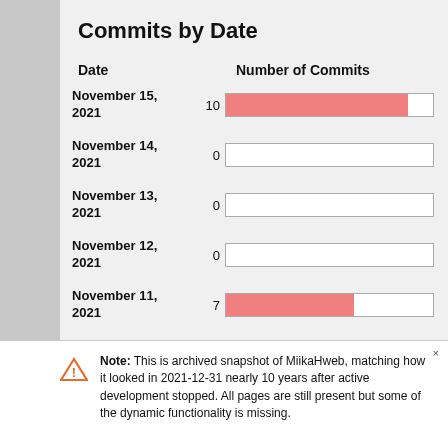Commits by Date
[Figure (bar-chart): Commits by Date]
Note: This is archived snapshot of MiikaHweb, matching how it looked in 2021-12-31 nearly 10 years after active development stopped. All pages are still present but some of the dynamic functionality is missing.